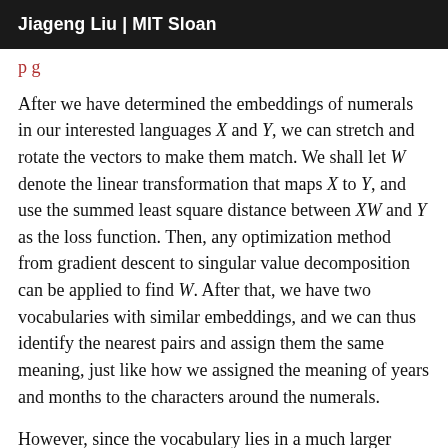Jiageng Liu | MIT Sloan
p g
After we have determined the embeddings of numerals in our interested languages X and Y, we can stretch and rotate the vectors to make them match. We shall let W denote the linear transformation that maps X to Y, and use the summed least square distance between XW and Y as the loss function. Then, any optimization method from gradient descent to singular value decomposition can be applied to find W. After that, we have two vocabularies with similar embeddings, and we can thus identify the nearest pairs and assign them the same meaning, just like how we assigned the meaning of years and months to the characters around the numerals.
However, since the vocabulary lies in a much larger space, only several seeds cannot help us to match the